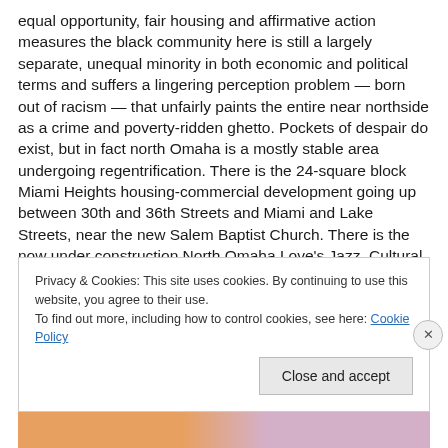equal opportunity, fair housing and affirmative action measures the black community here is still a largely separate, unequal minority in both economic and political terms and suffers a lingering perception problem — born out of racism — that unfairly paints the entire near northside as a crime and poverty-ridden ghetto. Pockets of despair do exist, but in fact north Omaha is a mostly stable area undergoing regentrification. There is the 24-square block Miami Heights housing-commercial development going up between 30th and 36th Streets and Miami and Lake Streets, near the new Salem Baptist Church. There is the now under construction North Omaha Love's Jazz, Cultural
Privacy & Cookies: This site uses cookies. By continuing to use this website, you agree to their use.
To find out more, including how to control cookies, see here: Cookie Policy
Close and accept